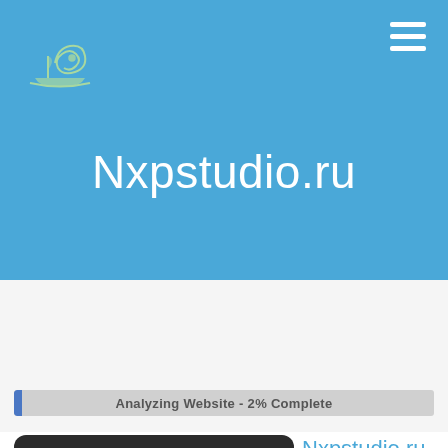[Figure (logo): Green ship/snail logo on blue background]
[Figure (illustration): Hamburger menu icon (three white horizontal lines) in top right corner]
Nxpstudio.ru
Analyzing Website - 2% Complete
[Figure (screenshot): Device mockup thumbnail showing website with logo]
Nxpstudio.ru
August, 21 2022